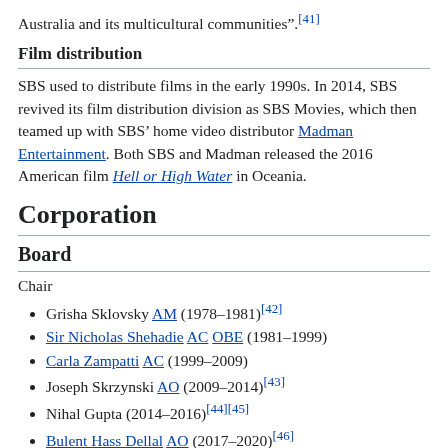Australia and its multicultural communities".[41]
Film distribution
SBS used to distribute films in the early 1990s. In 2014, SBS revived its film distribution division as SBS Movies, which then teamed up with SBS' home video distributor Madman Entertainment. Both SBS and Madman released the 2016 American film Hell or High Water in Oceania.
Corporation
Board
Chair
Grisha Sklovsky AM (1978–1981)[42]
Sir Nicholas Shehadie AC OBE (1981–1999)
Carla Zampatti AC (1999–2009)
Joseph Skrzynski AO (2009–2014)[43]
Nihal Gupta (2014–2016)[44][45]
Bulent Hass Dellal AO (2017–2020)[46]
George Savvides AM (2020–present)[47]